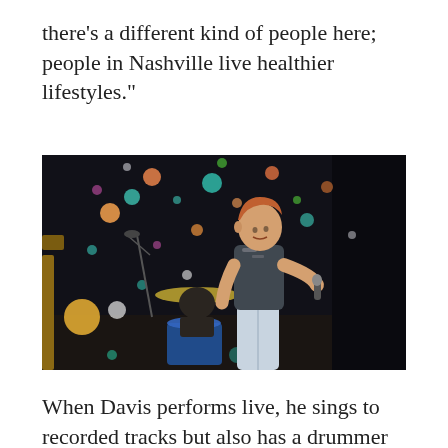there's a different kind of people here; people in Nashville live healthier lifestyles."
[Figure (photo): A male performer on stage singing into a microphone, wearing a sleeveless sparkly top and light jeans, with a drummer visible in the background. The backdrop features colorful bokeh/bubble lights against a dark background.]
When Davis performs live, he sings to recorded tracks but also has a drummer and guitar player to add a live feel to his performance at places like Nashville's